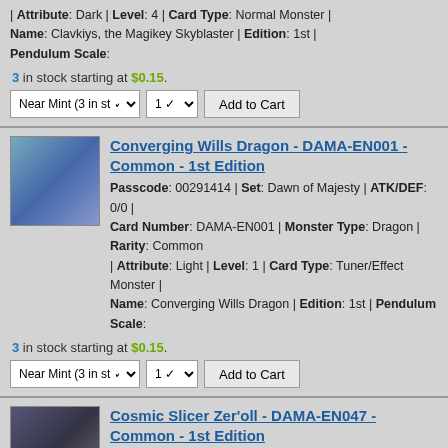| Attribute: Dark | Level: 4 | Card Type: Normal Monster | Name: Clavkiys, the Magikey Skyblaster | Edition: 1st | Pendulum Scale:
3 in stock starting at $0.15.
Near Mint (3 in st) | 1 | Add to Cart
Converging Wills Dragon - DAMA-EN001 - Common - 1st Edition
Passcode: 00291414 | Set: Dawn of Majesty | ATK/DEF: 0/0 | Card Number: DAMA-EN001 | Monster Type: Dragon | Rarity: Common | Attribute: Light | Level: 1 | Card Type: Tuner/Effect Monster | Name: Converging Wills Dragon | Edition: 1st | Pendulum Scale:
3 in stock starting at $0.15.
Near Mint (3 in st) | 1 | Add to Cart
Cosmic Slicer Zer'oll - DAMA-EN047 - Common - 1st Edition
Passcode: 01487805 | Set: Dawn of Majesty | ATK/DEF: 2600/LINK-3 | Card Number: DAMA-EN047 | Monster Type: Reptile | Rarity: Common | Attribute: Light | Level: | Card Type: Link/Effect Monster | Name: Cosmic Slicer Zer'oll | Edition: 1st | Pendulum Scale:
3 in stock starting at $0.15.
Near Mint (3 in st) | 1 | Add to Cart
D.D.D. - Different Dimension Derby - DAMA-EN085 - Common - 1st Edition